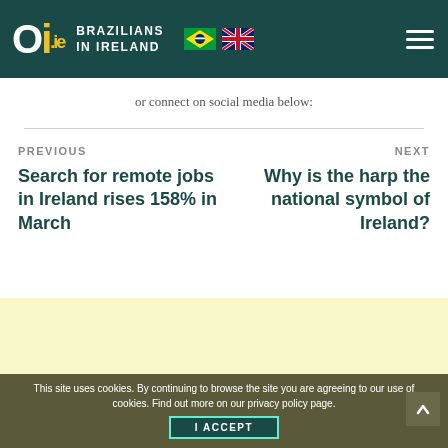Oi.ie — BRAZILIANS IN IRELAND
or connect on social media below:
PREVIOUS
Search for remote jobs in Ireland rises 158% in March
NEXT
Why is the harp the national symbol of Ireland?
This site uses cookies. By continuing to browse the site you are agreeing to our use of cookies. Find out more on our privacy policy page.
I ACCEPT